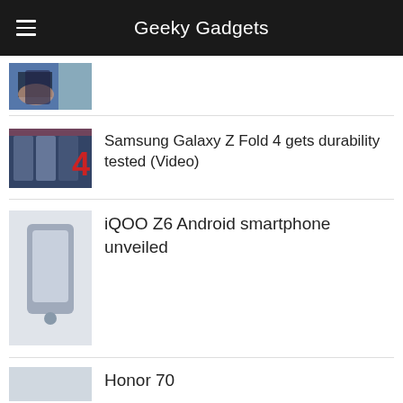Geeky Gadgets
[Figure (photo): Partial thumbnail image of a tech article, showing hands with device]
[Figure (photo): Thumbnail for Samsung Galaxy Z Fold 4 durability test article, showing the phone with a red number 4]
Samsung Galaxy Z Fold 4 gets durability tested (Video)
iQOO Z6 Android smartphone unveiled
Honor 70